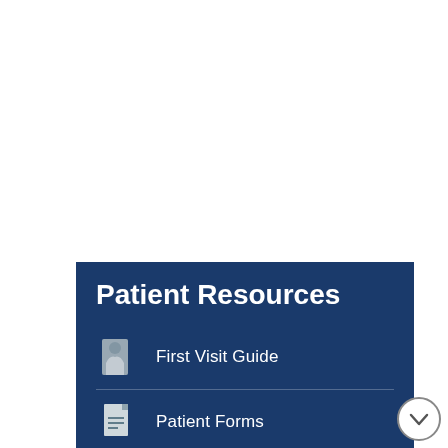Patient Resources
First Visit Guide
Patient Forms